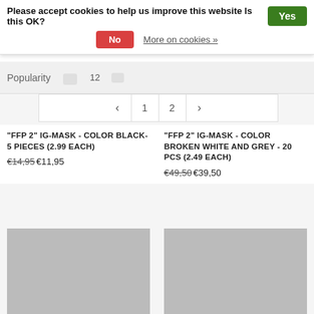Please accept cookies to help us improve this website Is this OK?
No   More on cookies »
Popularity  12
< 1 2 >
"FFP2" IG-MASK - COLOR BLACK- 5 PIECES (2.99 EACH)
€14,95 €11,95
"FFP2" IG-MASK - COLOR BROKEN WHITE AND GREY - 20 PCS (2.49 EACH)
€49,50 €39,50
[Figure (photo): Product image placeholder - grey rectangle for FFP2 mask color blue]
[Figure (photo): Product image placeholder - grey rectangle for FFP2 mask color red]
"FFP2" IG-MASK - COLOR BLUE - 5 PIECES (2.99...
"FFP2" IG-MASK - COLOR RED - 20 PCS (2.49 EACH)